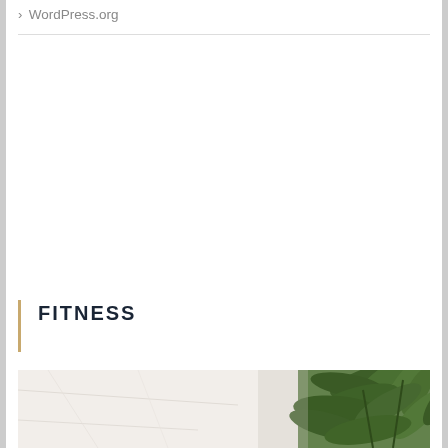> WordPress.org
FITNESS
[Figure (photo): Partial view of an indoor fitness or wellness space with white marble walls and green tropical palm plants on the right side, cropped at the bottom of the page.]